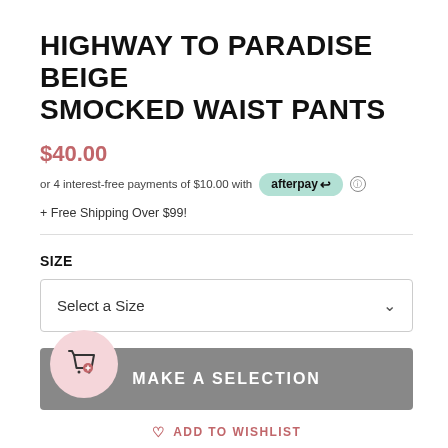HIGHWAY TO PARADISE BEIGE SMOCKED WAIST PANTS
$40.00
or 4 interest-free payments of $10.00 with afterpay
+ Free Shipping Over $99!
SIZE
Select a Size
MAKE A SELECTION
ADD TO WISHLIST